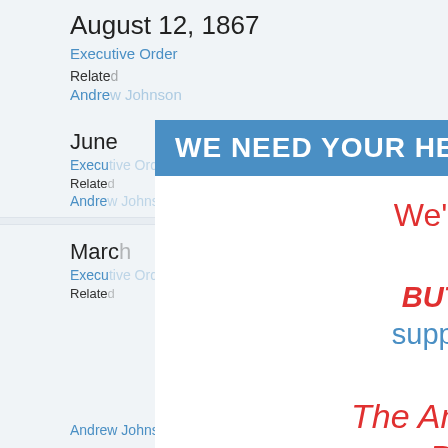August 12, 1867
Executive Order
Related
Andrew Johnson
June
Executive Order
Related
Andrew Johnson
March
Executive Order
Related
Andrew Johnson
WE NEED YOUR HELP!
We're sorry to disrupt your visit! BUT: We need *your* support in order to keep providing The American Presidency Project for free. Please make a tax-deductible gift! Every gift